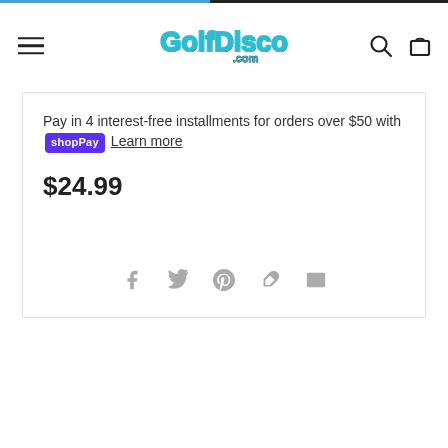GolfDisco.com
Pay in 4 interest-free installments for orders over $50 with Shop Pay Learn more
$24.99